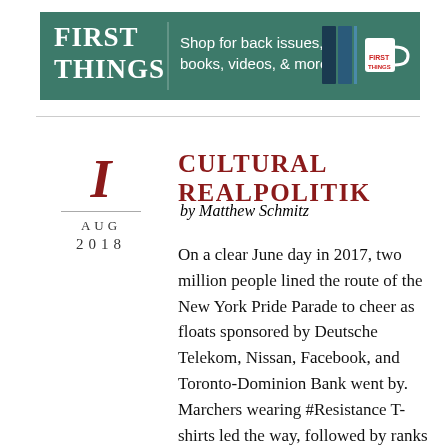[Figure (illustration): First Things magazine banner advertisement with green background. Left side shows 'FIRST THINGS' in bold white text. Center text reads 'Shop for back issues, books, videos, & more.' Right side shows icons of books/binders and a white mug.]
CULTURAL REALPOLITIK
by Matthew Schmitz
I
AUG
2018
On a clear June day in 2017, two million people lined the route of the New York Pride Parade to cheer as floats sponsored by Deutsche Telekom, Nissan, Facebook, and Toronto-Dominion Bank went by. Marchers wearing #Resistance T-shirts led the way, followed by ranks of New York's Finest marching . . . .